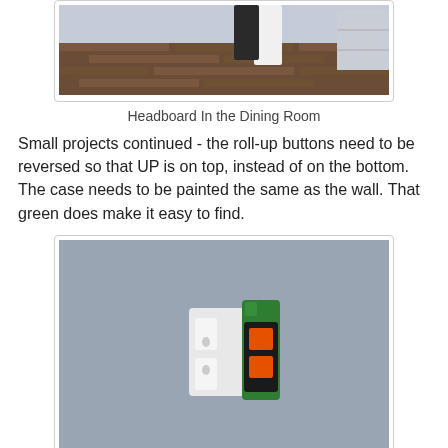[Figure (photo): Partial photo of a room with wood flooring, a headboard leaning against the wall, and shelving visible. Only the lower portion of the image is visible.]
Headboard In the Dining Room
Small projects continued - the roll-up buttons need to be reversed so that UP is on top, instead of on the bottom. The case needs to be painted the same as the wall. That green does make it easy to find.
[Figure (photo): Photo of a wall-mounted electrical outlet and a green and black roll-up door button controller with orange buttons, mounted on a gray/blue wall.]
Roll-up Door Buttons Need Paint and Reversing
One of the louvers from the original pool house was re-installed in the bedroom. The filled concrete space under the louver, needs to be lowered just a smidge almost in the